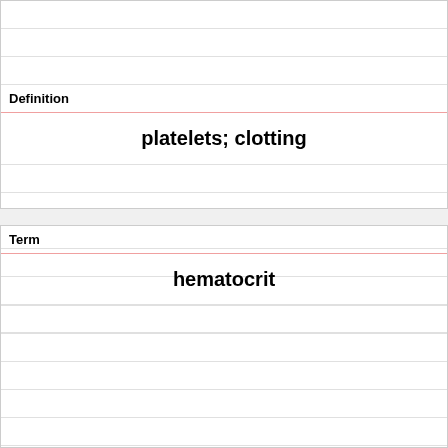Definition
platelets; clotting
Term
hematocrit